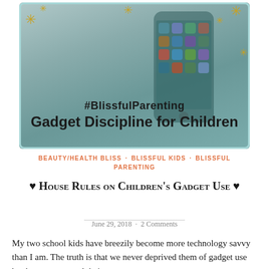[Figure (photo): Blog header image showing a smartphone with apps on screen, overlaid with decorative star/asterisk elements in gold color and a teal border frame. Text overlay reads '#BlissfulParenting' and 'Gadget Discipline for Children']
BEAUTY/HEALTH BLISS · BLISSFUL KIDS · BLISSFUL PARENTING
♥ House Rules on Children's Gadget Use ♥
June 29, 2018 · 2 Comments
My two school kids have breezily become more technology savvy than I am. The truth is that we never deprived them of gadget use but between me and their